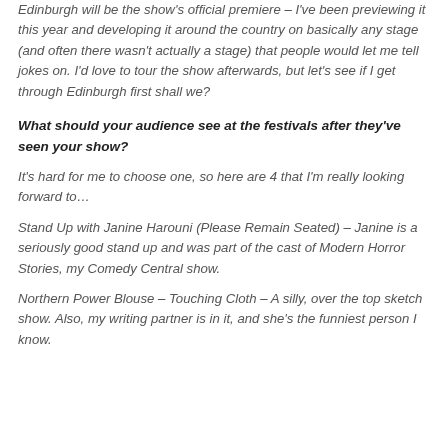Edinburgh will be the show's official premiere – I've been previewing it this year and developing it around the country on basically any stage (and often there wasn't actually a stage) that people would let me tell jokes on. I'd love to tour the show afterwards, but let's see if I get through Edinburgh first shall we?
What should your audience see at the festivals after they've seen your show?
It's hard for me to choose one, so here are 4 that I'm really looking forward to...
Stand Up with Janine Harouni (Please Remain Seated) – Janine is a seriously good stand up and was part of the cast of Modern Horror Stories, my Comedy Central show.
Northern Power Blouse – Touching Cloth – A silly, over the top sketch show. Also, my writing partner is in it, and she's the funniest person I know.